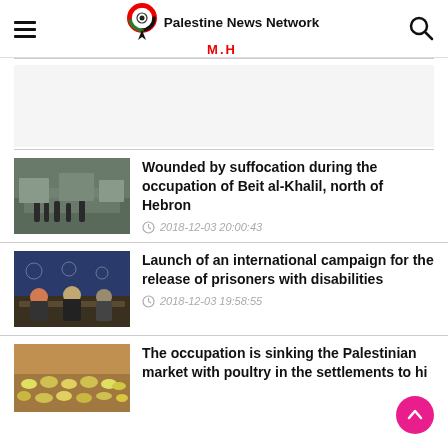Palestine News Network M.H
[Figure (photo): Thumbnail showing street scene with military/security forces]
Wounded by suffocation during the occupation of Beit al-Khalil, north of Hebron
2018-12-03 20:00:43
[Figure (photo): Thumbnail showing press conference with people seated at table]
Launch of an international campaign for the release of prisoners with disabilities
2018-12-03 19:58:55
[Figure (photo): Thumbnail showing market with poultry/food products]
The occupation is sinking the Palestinian market with poultry in the settlements to hi